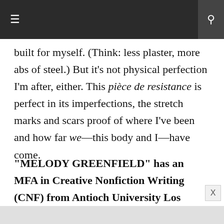≡  f  🔍
built for myself. (Think: less plaster, more abs of steel.) But it's not physical perfection I'm after, either. This pièce de resistance is perfect in its imperfections, the stretch marks and scars proof of where I've been and how far we—this body and I—have come.
"MELODY GREENFIELD" has an MFA in Creative Nonfiction Writing (CNF) from Antioch University Los Angeles. The LA-native and Pilates instructor has been published under this